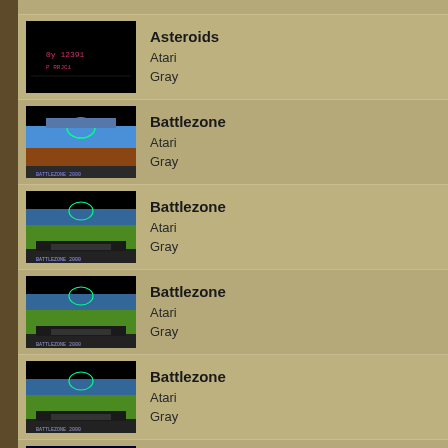Asteroids
Atari
Gray
Battlezone
Atari
Gray
Battlezone
Atari
Gray
Battlezone
Atari
Gray
Battlezone
Atari
Gray
Centipede
Atari